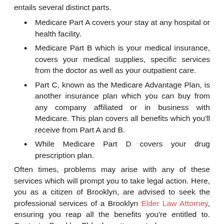entails several distinct parts.
Medicare Part A covers your stay at any hospital or health facility.
Medicare Part B which is your medical insurance, covers your medical supplies, specific services from the doctor as well as your outpatient care.
Part C, known as the Medicare Advantage Plan, is another insurance plan which you can buy from any company affiliated or in business with Medicare. This plan covers all benefits which you'll receive from Part A and B.
While Medicare Part D covers your drug prescription plan.
Often times, problems may arise with any of these services which will prompt you to take legal action. Here, you as a citizen of Brooklyn, are advised to seek the professional services of a Brooklyn Elder Law Attorney, ensuring you reap all the benefits you're entitled to. Contact a Brooklyn Elder law attorney today.